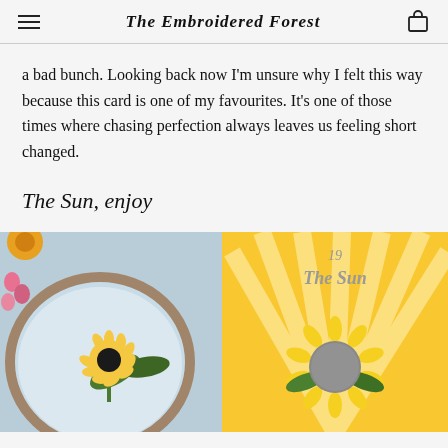The Embroidered Forest
a bad bunch. Looking back now I'm unsure why I felt this way because this card is one of my favourites. It's one of those times where chasing perfection always leaves us feeling short changed.
The Sun, enjoy
[Figure (photo): Embroidery hoop with a sunflower embroidery design on light blue fabric, with orange and pink flowers in the background]
[Figure (photo): Tarot card showing 'The Sun' (number 19) with a sunflower illustration on a yellow background with radiating rays]